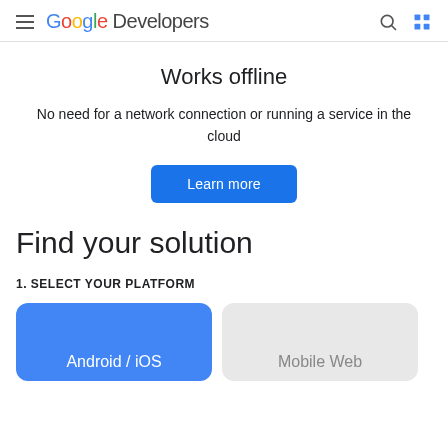Google Developers
Works offline
No need for a network connection or running a service in the cloud
Learn more
Find your solution
1. SELECT YOUR PLATFORM
Android / iOS
Mobile Web